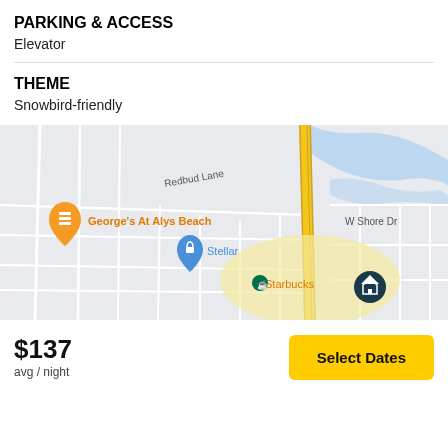PARKING & ACCESS
Elevator
THEME
Snowbird-friendly
[Figure (map): Google Maps view showing George's At Alys Beach, Stellar, Starbucks, Kingston Rd, Redbud Lane, W Shore Dr, and route 30 markers with a home/location pin.]
$137
avg / night
Select Dates